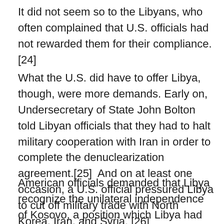It did not seem so to the Libyans, who often complained that U.S. officials had not rewarded them for their compliance. [24]
What the U.S. did have to offer Libya, though, were more demands. Early on, Undersecretary of State John Bolton told Libyan officials that they had to halt military cooperation with Iran in order to complete the denuclearization agreement.[25]  And on at least one occasion, a U.S. official pressured Libya to cut off military trade with North Korea, Iran, and Syria. [26]
American officials demanded that Libya recognize the unilateral independence of Kosovo, a position which Libya had consistently opposed. [27] This was followed by a U.S. diplomatic note to Libya, ordering it to vote against